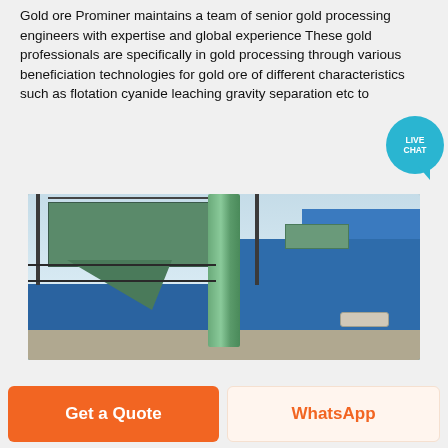Gold ore Prominer maintains a team of senior gold processing engineers with expertise and global experience These gold professionals are specifically in gold processing through various beneficiation technologies for gold ore of different characteristics such as flotation cyanide leaching gravity separation etc to
[Figure (photo): Industrial gold processing facility showing large green dust collector hoppers with steel frame structure, vertical green pipe/cyclone, blue metal building structures, scaffolding, and motor machinery on ground. Photographed outdoors against a clear sky.]
Get a Quote
WhatsApp